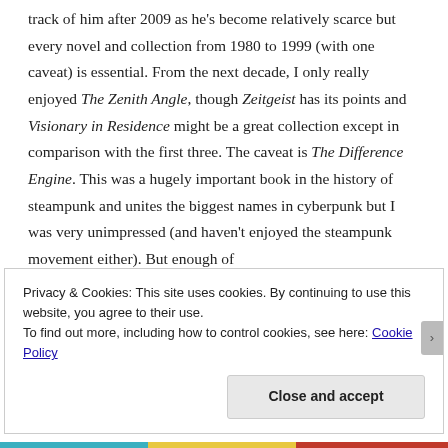track of him after 2009 as he's become relatively scarce but every novel and collection from 1980 to 1999 (with one caveat) is essential. From the next decade, I only really enjoyed The Zenith Angle, though Zeitgeist has its points and Visionary in Residence might be a great collection except in comparison with the first three. The caveat is The Difference Engine. This was a hugely important book in the history of steampunk and unites the biggest names in cyberpunk but I was very unimpressed (and haven't enjoyed the steampunk movement either). But enough of
Privacy & Cookies: This site uses cookies. By continuing to use this website, you agree to their use.
To find out more, including how to control cookies, see here: Cookie Policy
Close and accept